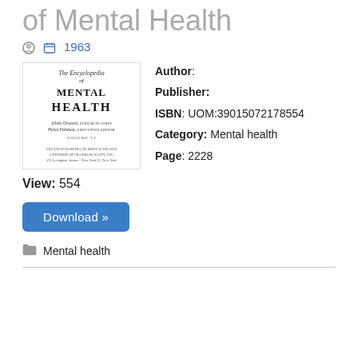of Mental Health
1963
[Figure (illustration): Book cover of The Encyclopedia of Mental Health, showing title text, editors Albert Deutsch and Helen Fishman, volume number, and publisher information.]
Author:
Publisher:
ISBN: UOM:39015072178554
Category: Mental health
Page: 2228
View: 554
Download »
Mental health